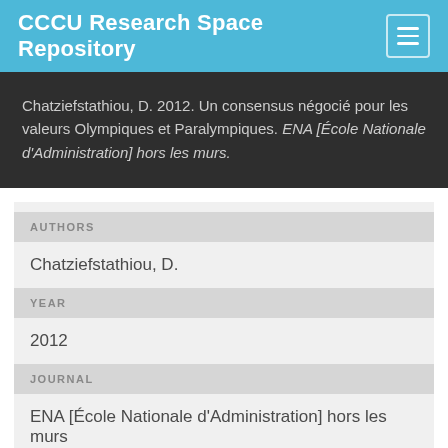CCCU Research Space Repository
Chatziefstathiou, D. 2012. Un consensus négocié pour les valeurs Olympiques et Paralympiques. ENA [École Nationale d'Administration] hors les murs.
AUTHORS
Chatziefstathiou, D.
YEAR
2012
JOURNAL
ENA [École Nationale d'Administration] hors les murs